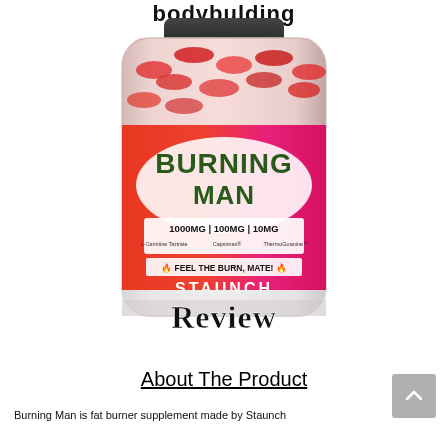bodybulding.com
[Figure (photo): Product photo of 'Burning Man' supplement bottle by Staunch with orange/pink label. Label shows text: BURNING MAN, 1000MG | 100MG | 10MG (L-Carnitine Tartrate | Capsimax | ThermoGuanine), FEEL THE BURN, MATE!, STAUNCH. Bottle is filled with red capsules. Overlaid text reads 'Review' in stylized font.]
About The Product
Burning Man is fat burner supplement made by Staunch